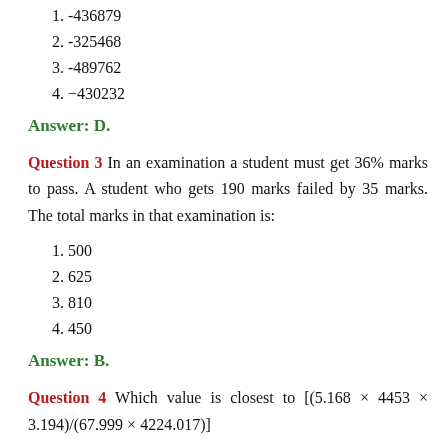1. -436879
2. -325468
3. -489762
4. −430232
Answer: D.
Question 3 In an examination a student must get 36% marks to pass. A student who gets 190 marks failed by 35 marks. The total marks in that examination is:
1. 500
2. 625
3. 810
4. 450
Answer: B.
Question 4 Which value is closest to [(5.168 × 4453 × 3.194)/(67.999 × 4224.017)]